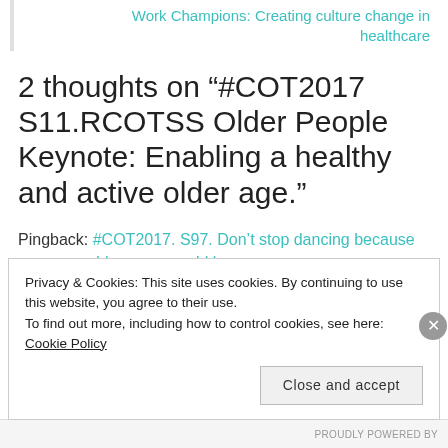Work Champions: Creating culture change in healthcare
2 thoughts on “#COT2017 S11.RCOTSS Older People Keynote: Enabling a healthy and active older age.”
Pingback: #COT2017. S97. Don’t stop dancing because you grow old, you grow old because you
Privacy & Cookies: This site uses cookies. By continuing to use this website, you agree to their use.
To find out more, including how to control cookies, see here: Cookie Policy